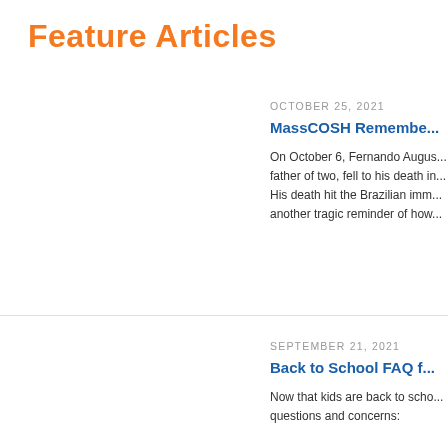Feature Articles
OCTOBER 25, 2021
MassCOSH Remembe...
On October 6, Fernando Augus... father of two, fell to his death in... His death hit the Brazilian imm... another tragic reminder of how...
SEPTEMBER 21, 2021
Back to School FAQ f...
Now that kids are back to scho... questions and concerns:

What health and safety protect...